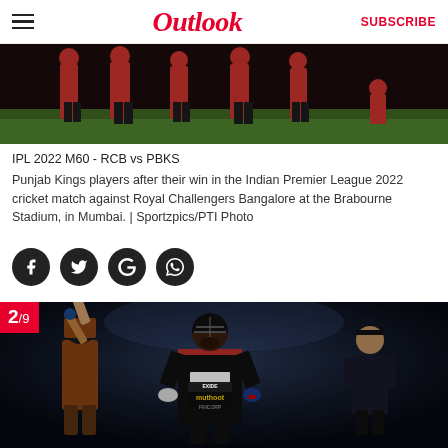Outlook | SUBSCRIBE
[Figure (photo): Punjab Kings players in red uniforms after their win, walking on the cricket ground at Brabourne Stadium]
IPL 2022 M60 - RCB vs PBKS
Punjab Kings players after their win in the Indian Premier League 2022 cricket match against Royal Challengers Bangalore at the Brabourne Stadium, in Mumbai. | Sportzpics/PTI Photo
[Figure (photo): Virat Kohli in RCB black jersey with Muthoot Fincorp branding, looking up, with teammates in background after a match]
2/9